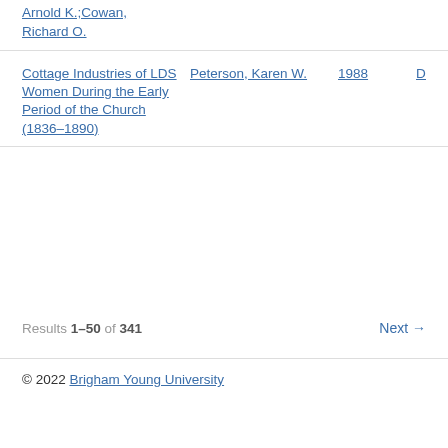Arnold K.;Cowan, Richard O.
| Title | Author | Year | Type |
| --- | --- | --- | --- |
| Cottage Industries of LDS Women During the Early Period of the Church (1836-1890) | Peterson, Karen W. | 1988 | Dis... |
Results 1–50 of 341  Next →
© 2022 Brigham Young University